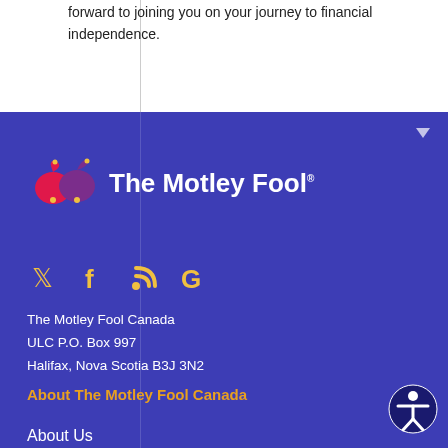forward to joining you on your journey to financial independence.
[Figure (logo): The Motley Fool logo with jester hat icon and wordmark 'The Motley Fool']
[Figure (other): Social media icons: Twitter, Facebook, RSS, Google]
The Motley Fool Canada
ULC P.O. Box 997
Halifax, Nova Scotia B3J 3N2
About The Motley Fool Canada
About Us
Our Investing Team
Motley Fool Canada Reviews
Fool Disclosure Policy